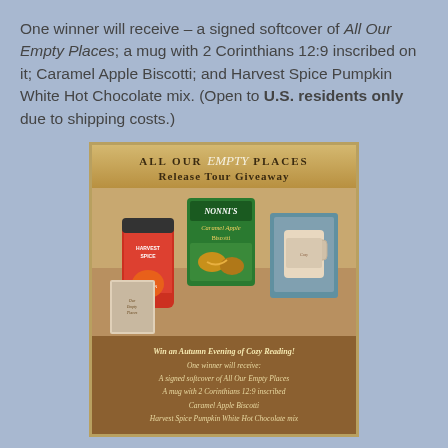One winner will receive – a signed softcover of All Our Empty Places; a mug with 2 Corinthians 12:9 inscribed on it; Caramel Apple Biscotti; and Harvest Spice Pumpkin White Hot Chocolate mix. (Open to U.S. residents only due to shipping costs.)
[Figure (infographic): All Our Empty Places Release Tour Giveaway graphic showing Harvest Spice can, Nonni's Caramel Apple Biscotti box, and a mug in a gift box, with text listing giveaway prizes including a signed softcover of All Our Empty Places, a mug with 2 Corinthians 12:9 inscribed, Caramel Apple Biscotti, and Harvest Spice Pumpkin White Hot Chocolate mix.]